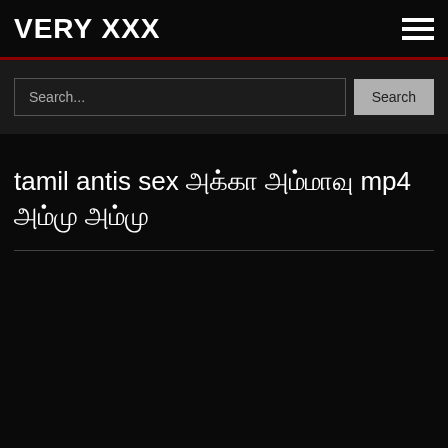VERY XXX
Search...
tamil antis sex அக்கா அம்மாவு mp4 அம்மு அம்மு